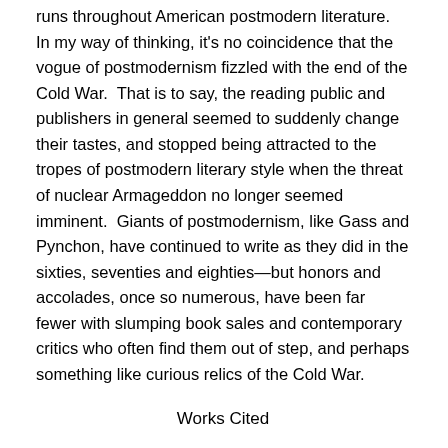runs throughout American postmodern literature.  In my way of thinking, it's no coincidence that the vogue of postmodernism fizzled with the end of the Cold War.  That is to say, the reading public and publishers in general seemed to suddenly change their tastes, and stopped being attracted to the tropes of postmodern literary style when the threat of nuclear Armageddon no longer seemed imminent.  Giants of postmodernism, like Gass and Pynchon, have continued to write as they did in the sixties, seventies and eighties—but honors and accolades, once so numerous, have been far fewer with slumping book sales and contemporary critics who often find them out of step, and perhaps something like curious relics of the Cold War.
Works Cited